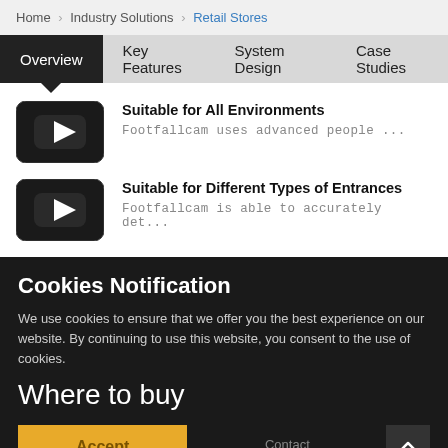Home > Industry Solutions > Retail Stores
Overview | Key Features | System Design | Case Studies
Suitable for All Environments
Footfallcam uses advanced people ...
Suitable for Different Types of Entrances
Footfallcam is able to accurately det...
Cookies Notification
We use cookies to ensure that we offer you the best experience on our website. By continuing to use this website, you consent to the use of cookies.
Where to buy
Accept
Contact Number
Company Name
Country